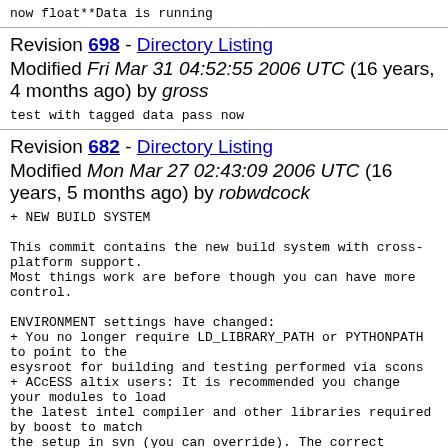now float**Data is running
Revision 698 - Directory Listing
Modified Fri Mar 31 04:52:55 2006 UTC (16 years, 4 months ago) by gross
test with tagged data pass now
Revision 682 - Directory Listing
Modified Mon Mar 27 02:43:09 2006 UTC (16 years, 5 months ago) by robwdcock
+ NEW BUILD SYSTEM

This commit contains the new build system with cross-platform support.
Most things work are before though you can have more control.

ENVIRONMENT settings have changed:
+ You no longer require LD_LIBRARY_PATH or PYTHONPATH to point to the
esysroot for building and testing performed via scons
+ ACcESS altix users: It is recommended you change your modules to load
the latest intel compiler and other libraries required by boost to match
the setup in svn (you can override). The correct